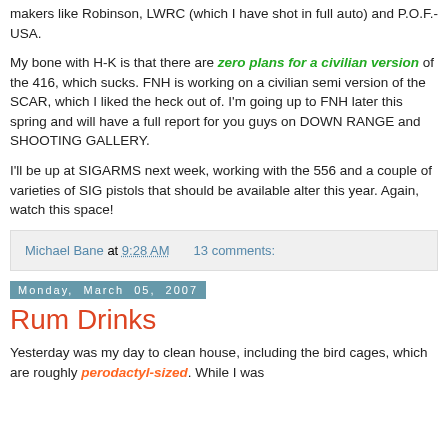makers like Robinson, LWRC (which I have shot in full auto) and P.O.F.-USA.
My bone with H-K is that there are zero plans for a civilian version of the 416, which sucks. FNH is working on a civilian semi version of the SCAR, which I liked the heck out of. I'm going up to FNH later this spring and will have a full report for you guys on DOWN RANGE and SHOOTING GALLERY.
I'll be up at SIGARMS next week, working with the 556 and a couple of varieties of SIG pistols that should be available alter this year. Again, watch this space!
Michael Bane at 9:28 AM    13 comments:
Monday, March 05, 2007
Rum Drinks
Yesterday was my day to clean house, including the bird cages, which are roughly perodactyl-sized. While I was